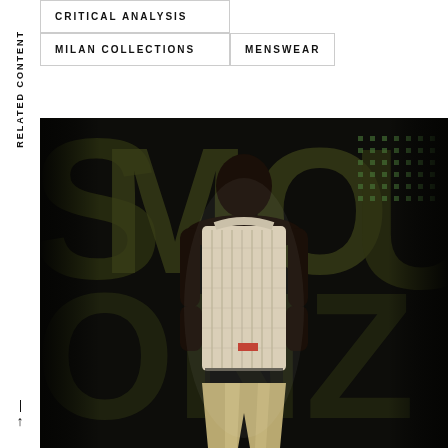RELATED CONTENT
CRITICAL ANALYSIS
MILAN COLLECTIONS
MENSWEAR
[Figure (photo): A male fashion model wearing a white cable-knit sleeveless top and metallic/silver trousers, standing in front of a dark background with large illuminated letters. The model is photographed on a runway or in a fashion show setting.]